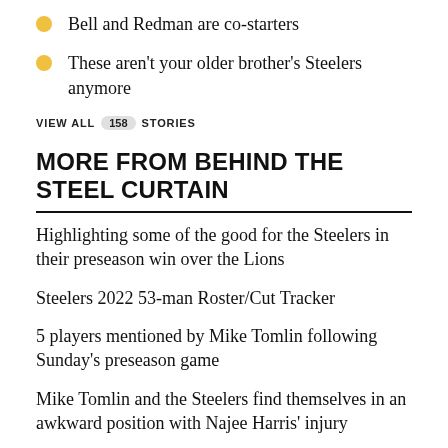Bell and Redman are co-starters
These aren't your older brother's Steelers anymore
VIEW ALL 158 STORIES
MORE FROM BEHIND THE STEEL CURTAIN
Highlighting some of the good for the Steelers in their preseason win over the Lions
Steelers 2022 53-man Roster/Cut Tracker
5 players mentioned by Mike Tomlin following Sunday's preseason game
Mike Tomlin and the Steelers find themselves in an awkward position with Najee Harris' injury
7 Winners and 5 Losers after the Steelers win over the Lions
Report Card: Grading the Steelers preseason win over the Lions